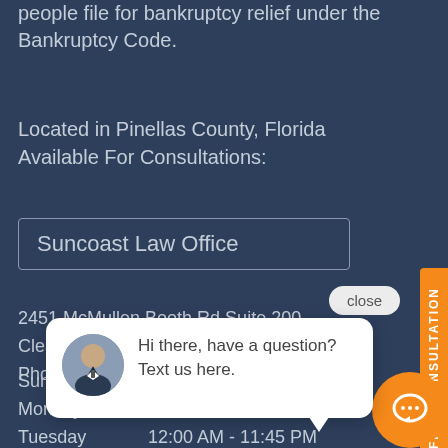people file for bankruptcy relief under the Bankruptcy Code.
Located in Pinellas County, Florida
Available For Consultations:
Suncoast Law Office
2451 McMullen Booth Rd Suite 200
Clearwa...
Phone:
[Figure (screenshot): Chat popup with avatar photo of a man in suit, text: Hi there, have a question? Text us here.]
Sunday
Monday    12:00 AM - 11:45 PM
Tuesday   12:00 AM - 11:45 PM
Wednesday12:00 AM - 11:45 PM
Thursday  12:00 AM - 11:45 PM
Friday    12:00 AM - 11:45 PM